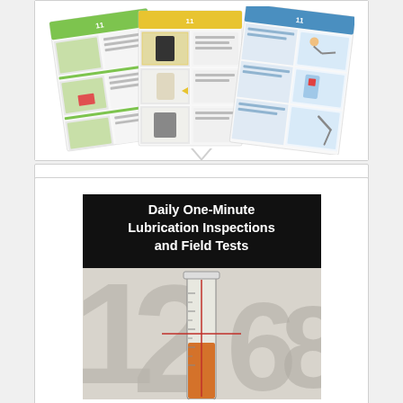[Figure (illustration): Three overlapping instructional posters for oil sampling procedure, showing step-by-step photos in green, yellow, and blue color schemes]
Oil Sampling Procedure Poster
[Figure (photo): Book cover for 'Daily One-Minute Lubrication Inspections and Field Tests' with dark black header, white text title, and an image of a graduated cylinder with orange oil against a background with large numbers]